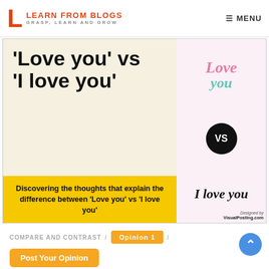LEARN FROM BLOGS — GRASP, LEARN AND GROW / MENU
[Figure (illustration): Banner image showing 'Love you' vs 'I love you' — left panel beige with large bold text, yellow strip with subtitle; right panel showing cursive 'Love you' in pink/teal, VS circle, and 'I love you' in black script. Designed by VisualPosting.com]
COMPARE AND CONTRAST / Opinion 1 / Post Your Opinion